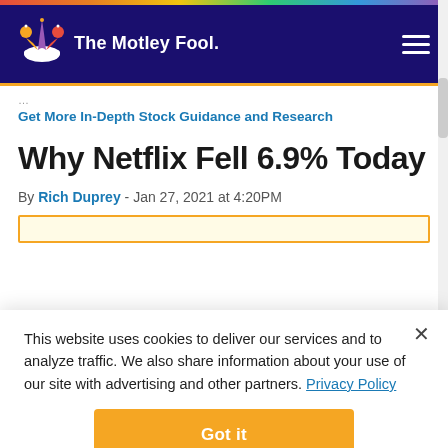[Figure (logo): The Motley Fool logo with jester hat icon in navy navigation bar]
Get More In-Depth Stock Guidance and Research
Why Netflix Fell 6.9% Today
By Rich Duprey - Jan 27, 2021 at 4:20PM
This website uses cookies to deliver our services and to analyze traffic. We also share information about your use of our site with advertising and other partners. Privacy Policy
Got it
Cookie Settings